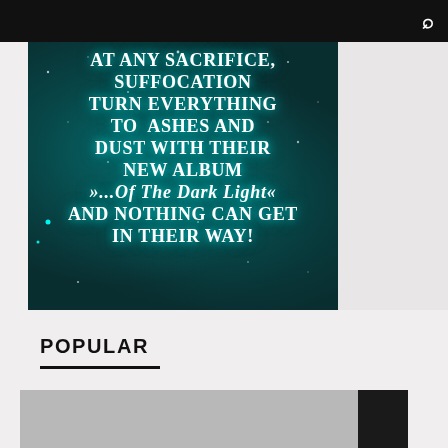[Figure (photo): Dark teal/cyan space nebula background with white bold serif text reading: AT ANY SACRIFICE, SUFFOCATION TURN EVERYTHING TO ASHES AND DUST WITH THEIR NEW ALBUM »...Of The Dark Light« AND NOTHING CAN GET IN THEIR WAY!]
POPULAR